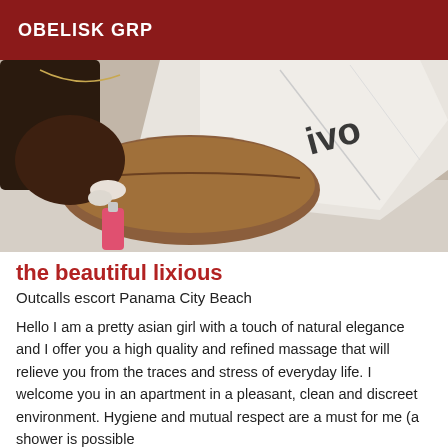OBELISK GRP
[Figure (photo): Close-up photo of a person looking down at a brown leather bag with a white shopping bag, and a pink bottle visible in the foreground.]
the beautiful lixious
Outcalls escort Panama City Beach
Hello I am a pretty asian girl with a touch of natural elegance and I offer you a high quality and refined massage that will relieve you from the traces and stress of everyday life. I welcome you in an apartment in a pleasant, clean and discreet environment. Hygiene and mutual respect are a must for me (a shower is possible